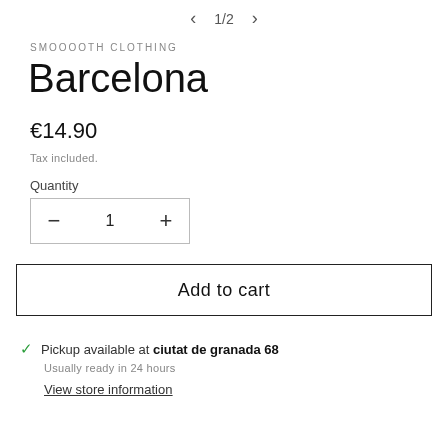< 1/2 >
SMOOOOTH CLOTHING
Barcelona
€14.90
Tax included.
Quantity
− 1 +
Add to cart
✓ Pickup available at ciutat de granada 68
Usually ready in 24 hours
View store information